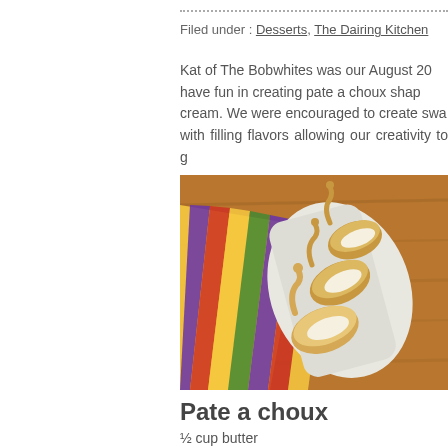Filed under : Desserts, The Dairing Kitchen
Kat of The Bobwhites was our August 20... have fun in creating pate a choux shap... cream. We were encouraged to create swa... with filling flavors allowing our creativity to g...
[Figure (photo): Photo of pate a choux pastries shaped like swans arranged on a striped cloth on a wooden surface]
Pate a choux
½ cup butter
1 cup water